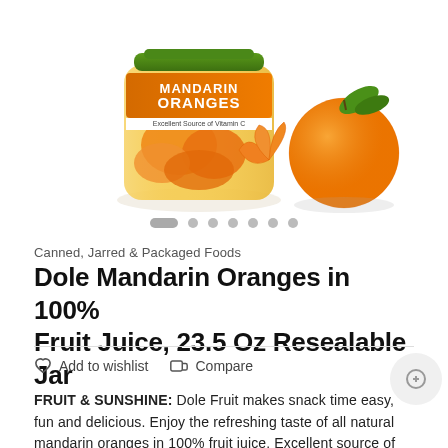[Figure (photo): Product photo of Dole Mandarin Oranges jar with whole and segmented mandarin oranges beside it. Orange label reads MANDARIN ORANGES, Excellent Source of Vitamin C. Green cap visible.]
Canned, Jarred & Packaged Foods
Dole Mandarin Oranges in 100% Fruit Juice, 23.5 Oz Resealable Jar
Add to wishlist   Compare
FRUIT & SUNSHINE: Dole Fruit makes snack time easy, fun and delicious. Enjoy the refreshing taste of all natural mandarin oranges in 100% fruit juice. Excellent source of vitamin C and great for